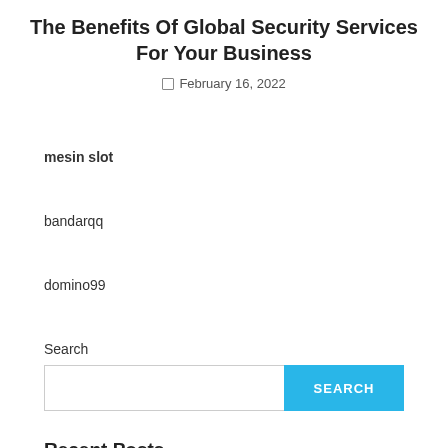The Benefits Of Global Security Services For Your Business
February 16, 2022
mesin slot
bandarqq
domino99
Search
Recent Posts